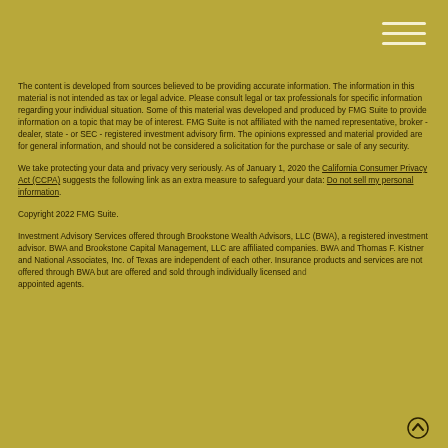The content is developed from sources believed to be providing accurate information. The information in this material is not intended as tax or legal advice. Please consult legal or tax professionals for specific information regarding your individual situation. Some of this material was developed and produced by FMG Suite to provide information on a topic that may be of interest. FMG Suite is not affiliated with the named representative, broker - dealer, state - or SEC - registered investment advisory firm. The opinions expressed and material provided are for general information, and should not be considered a solicitation for the purchase or sale of any security.
We take protecting your data and privacy very seriously. As of January 1, 2020 the California Consumer Privacy Act (CCPA) suggests the following link as an extra measure to safeguard your data: Do not sell my personal information.
Copyright 2022 FMG Suite.
Investment Advisory Services offered through Brookstone Wealth Advisors, LLC (BWA), a registered investment advisor. BWA and Brookstone Capital Management, LLC are affiliated companies. BWA and Thomas F. Kistner and National Associates, Inc. of Texas are independent of each other. Insurance products and services are not offered through BWA but are offered and sold through individually licensed and appointed agents.